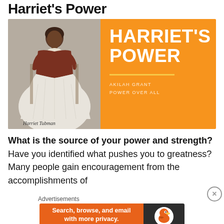Harriet's Power
[Figure (illustration): Book cover for 'Harriet's Power' by Akilah Grant (Power Over All). Left half shows a historical photograph of Harriet Tubman seated. Right half is an orange background with large white bold text reading HARRIET'S POWER, a yellow horizontal line, and text reading AKILAH GRANT / POWER OVER ALL.]
What is the source of your power and strength? Have you identified what pushes you to greatness? Many people gain encouragement from the accomplishments of
[Figure (screenshot): DuckDuckGo advertisement banner. Orange background with text 'Search, browse, and email with more privacy. All in One Free App' and DuckDuckGo logo on dark background on the right.]